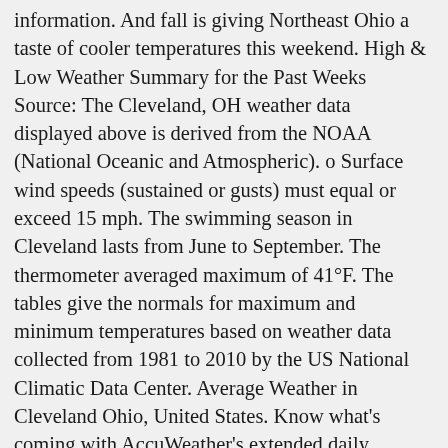information. And fall is giving Northeast Ohio a taste of cooler temperatures this weekend. High & Low Weather Summary for the Past Weeks Source: The Cleveland, OH weather data displayed above is derived from the NOAA (National Oceanic and Atmospheric). o Surface wind speeds (sustained or gusts) must equal or exceed 15 mph. The swimming season in Cleveland lasts from June to September. The thermometer averaged maximum of 41°F. The tables give the normals for maximum and minimum temperatures based on weather data collected from 1981 to 2010 by the US National Climatic Data Center. Average Weather in Cleveland Ohio, United States. Know what's coming with AccuWeather's extended daily forecasts for Cleveland, OH. Everything else here is based on 1981 to 2010 weather. A date with a plus sign means it was that hot on at least one other day earlier that year. After hitting a high of 58 degrees Celsius on Friday, here in Cleveland there is nothing to ridicule until mid-December in the mid-50s. Out of 31 days, 25 of them featured above average temperatures in